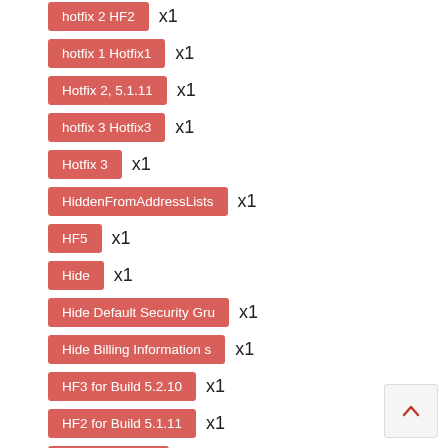hotfix 2 HF2  x1
hotfix 1 Hotfix1  x1
Hotfix 2, 5.1.11  x1
hotfix 3 Hotfix3  x1
Hotfix 3  x1
HiddenFromAddressLists  x1
HF5  x1
Hide  x1
Hide Default Security Gru  x1
Hide Billing Information s  x1
HF3 for Build 5.2.10  x1
HF2 for Build 5.1.11  x1
HF1 for v6.4.50  x1